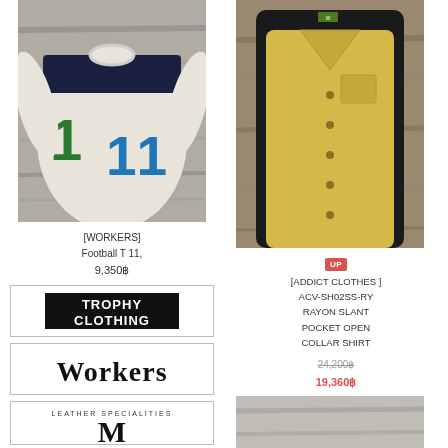[Figure (photo): Football jersey shirt number 11 in cream color with green and blue numbers, laid flat on wooden surface]
[WORKERS]
Football T 11,
9,350฿
[Figure (logo): Trophy Clothing brand logo in black and white]
[Figure (logo): Workers brand logo in serif font]
[Figure (logo): Leather Specialities brand logo partial]
[Figure (photo): Yellow/mustard open collar rayon shirt with black shirt behind, on wooden hanger/surface]
UP
[ADDICT CLOTHES ]
ACV-SH02SS-RY
RAYON SLANT
POCKET OPEN
COLLAR SHIRT
24,200฿
19,360฿
[Figure (photo): Partial photo of another clothing item at bottom right]